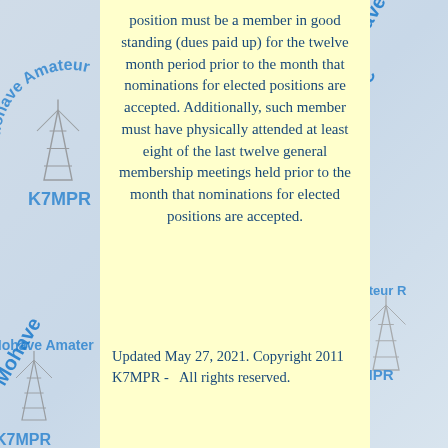[Figure (logo): Mohave Amateur Radio Club K7MPR logo with antenna tower, repeated as watermark in background]
position must be a member in good standing (dues paid up) for the twelve month period prior to the month that nominations for elected positions are accepted. Additionally, such member must have physically attended at least eight of the last twelve general membership meetings held prior to the month that nominations for elected positions are accepted.
Updated May 27, 2021. Copyright 2011  K7MPR -   All rights reserved.